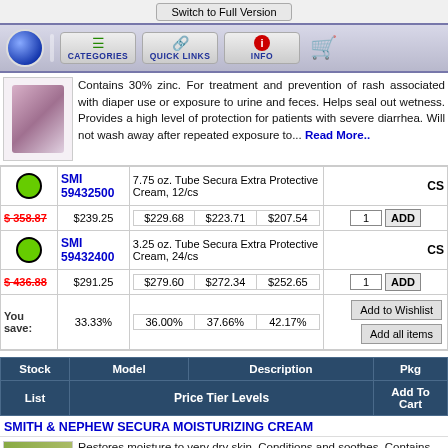Switch to Full Version
[Figure (screenshot): Navigation bar with globe icon, CATEGORIES, QUICK LINKS, INFO, and shopping cart buttons]
Contains 30% zinc. For treatment and prevention of rash associated with diaper use or exposure to urine and feces. Helps seal out wetness. Provides a high level of protection for patients with severe diarrhea. Will not wash away after repeated exposure to... Read More..
| Stock | Model | Description | Pkg |
| --- | --- | --- | --- |
| [green] | SMI 59432500 | 7.75 oz. Tube Secura Extra Protective Cream, 12/cs | CS |
| $358.87 | $239.25 | $229.68 | $223.71 | $207.54 | 1 | ADD |
| [green] | SMI 59432400 | 3.25 oz. Tube Secura Extra Protective Cream, 24/cs | CS |
| $436.88 | $291.25 | $279.60 | $272.34 | $252.65 | 1 | ADD |
| You save: | 33.33% | 36.00% | 37.66% | 42.17% |  |  |
| Stock | Model | Description | Pkg | Add To Cart |
| --- | --- | --- | --- | --- |
| List | Price Tier Levels |  |  | Add To Cart |
SMITH & NEPHEW SECURA MOISTURIZING CREAM
Restores moisture to very dry skin. Conditions and soothes. Contains